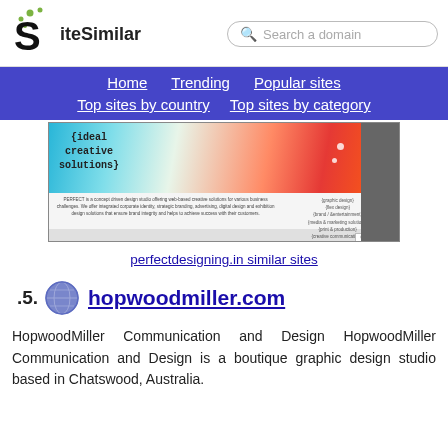SiteSimilar — Search a domain
[Figure (screenshot): Screenshot of perfectdesigning.in website showing colorful curved design with text 'ideal creative solutions']
perfectdesigning.in similar sites
15. hopwoodmiller.com
HopwoodMiller Communication and Design HopwoodMiller Communication and Design is a boutique graphic design studio based in Chatswood, Australia.